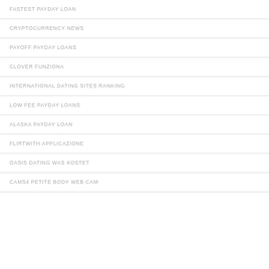FASTEST PAYDAY LOAN
CRYPTOCURRENCY NEWS
PAYOFF PAYDAY LOANS
CLOVER FUNZIONA
INTERNATIONAL DATING SITES RANKING
LOW FEE PAYDAY LOANS
ALASKA PAYDAY LOAN
FLIRTWITH APPLICAZIONE
OASIS DATING WAS KOSTET
CAMS4 PETITE BODY WEB CAM